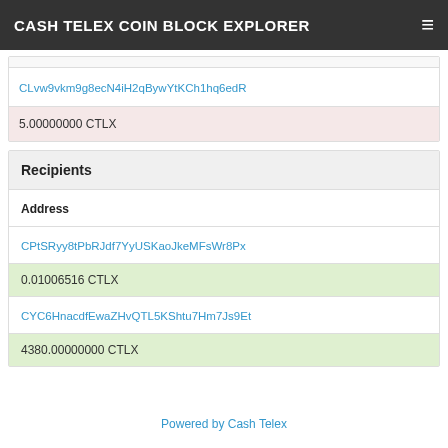CASH TELEX COIN BLOCK EXPLORER
CLvw9vkm9g8ecN4iH2qBywYtKCh1hq6edR
5.00000000 CTLX
Recipients
| Address |
| --- |
| CPtSRyy8tPbRJdf7YyUSKaoJkeMFsWr8Px |
| 0.01006516 CTLX |
| CYC6HnacdfEwaZHvQTL5KShtu7Hm7Js9Et |
| 4380.00000000 CTLX |
Powered by Cash Telex